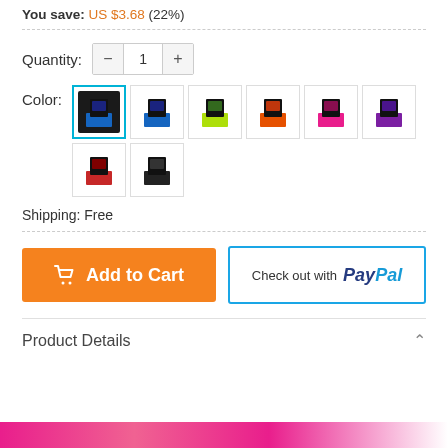You save: US $3.68 (22%)
Quantity: 1
[Figure (screenshot): Color selector showing 8 gaming chair color swatches in a grid: black/blue (selected with teal border), black/blue2, black/yellow-green, black/orange, black/pink, black/purple, black/red, and black/black]
Shipping: Free
[Figure (screenshot): Add to Cart orange button with cart icon, and Check out with PayPal button with PayPal branding]
Product Details
[Figure (photo): Pink/red partial product image at bottom of page]